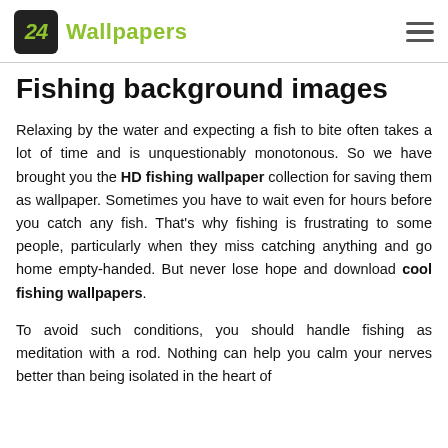24 Wallpapers
Fishing background images
Relaxing by the water and expecting a fish to bite often takes a lot of time and is unquestionably monotonous. So we have brought you the HD fishing wallpaper collection for saving them as wallpaper. Sometimes you have to wait even for hours before you catch any fish. That's why fishing is frustrating to some people, particularly when they miss catching anything and go home empty-handed. But never lose hope and download cool fishing wallpapers.
To avoid such conditions, you should handle fishing as meditation with a rod. Nothing can help you calm your nerves better than being isolated in the heart of